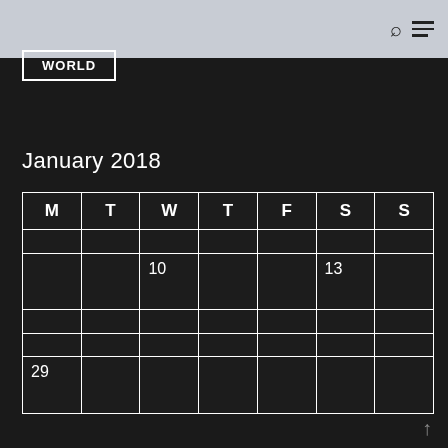WORLD
January 2018
| M | T | W | T | F | S | S |
| --- | --- | --- | --- | --- | --- | --- |
|  |  |  |  |  |  |  |
|  |  | 10 |  |  | 13 |  |
|  |  |  |  |  |  |  |
|  |  |  |  |  |  |  |
| 29 |  |  |  |  |  |  |